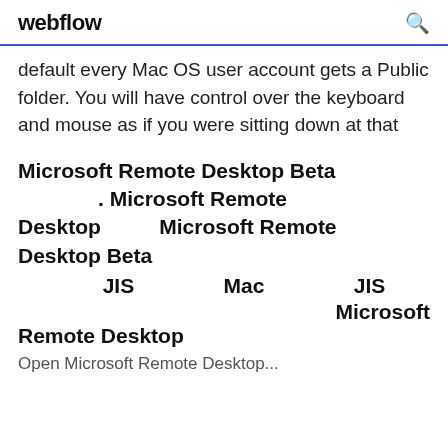webflow
default every Mac OS user account gets a Public folder. You will have control over the keyboard and mouse as if you were sitting down at that
Microsoft Remote Desktop Beta . Microsoft Remote Desktop        Microsoft Remote Desktop Beta        JIS        Mac        JIS                                Microsoft Remote Desktop
Open Microsoft Remote Desktop...